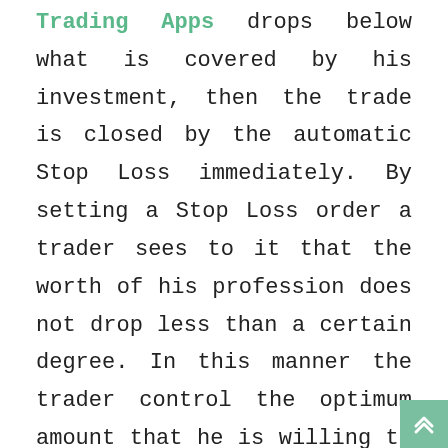Trading Apps drops below what is covered by his investment, then the trade is closed by the automatic Stop Loss immediately. By setting a Stop Loss order a trader sees to it that the worth of his profession does not drop less than a certain degree. In this manner the trader control the optimum amount that he is willing to lose on a trade, without needing to check each trade throughout the day. Take Revenue orders are also comparable to stop loss orders which only implied to revenues. TR